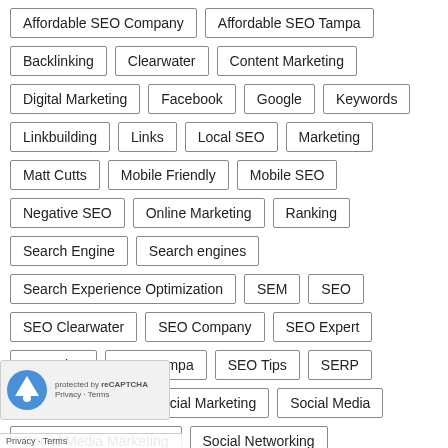Affordable SEO Company
Affordable SEO Tampa
Backlinking
Clearwater
Content Marketing
Digital Marketing
Facebook
Google
Keywords
Linkbuilding
Links
Local SEO
Marketing
Matt Cutts
Mobile Friendly
Mobile SEO
Negative SEO
Online Marketing
Ranking
Search Engine
Search engines
Search Experience Optimization
SEM
SEO
SEO Clearwater
SEO Company
SEO Expert
SEO Firm
SEO Tampa
SEO Tips
SERP
Small Business
Social Marketing
Social Media
Social Media Marketing
Social Networking